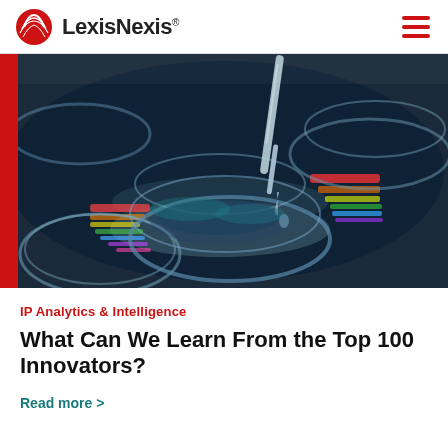LexisNexis
[Figure (photo): Close-up photo of laboratory glassware with a pipette dropping liquid into a beaker, with colorful reflections visible in the glass]
IP Analytics & Intelligence
What Can We Learn From the Top 100 Innovators?
Read more >